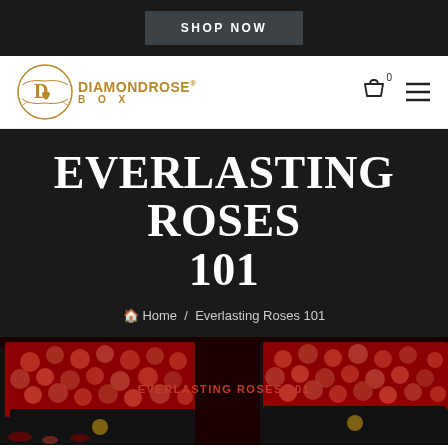SHOP NOW
[Figure (logo): DiamondRose Box logo with golden circular emblem and text]
EVERLASTING ROSES 101
Home / Everlasting Roses 101
[Figure (photo): Banner image showing red roses in black boxes with text EVERLASTING ROSES 101 in center]
SPIN TO WIN
What Are Everlasting Roses? Things You Should Know About Them